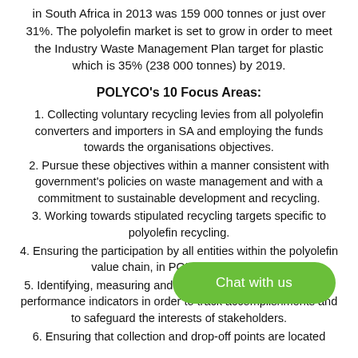in South Africa in 2013 was 159 000 tonnes or just over 31%. The polyolefin market is set to grow in order to meet the Industry Waste Management Plan target for plastic which is 35% (238 000 tonnes) by 2019.
POLYCO's 10 Focus Areas:
1. Collecting voluntary recycling levies from all polyolefin converters and importers in SA and employing the funds towards the organisations objectives.
2. Pursue these objectives within a manner consistent with government's policies on waste management and with a commitment to sustainable development and recycling.
3. Working towards stipulated recycling targets specific to polyolefin recycling.
4. Ensuring the participation by all entities within the polyolefin value chain, in POLYCO activities.
5. Identifying, measuring and reaching company specific key performance indicators in order to track accomplishments and to safeguard the interests of stakeholders.
6. Ensuring that collection and drop-off points are located